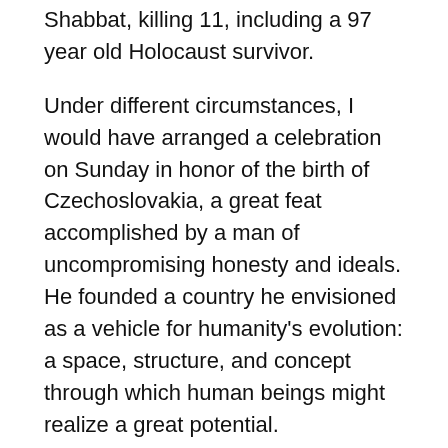Shabbat, killing 11, including a 97 year old Holocaust survivor.
Under different circumstances, I would have arranged a celebration on Sunday in honor of the birth of Czechoslovakia, a great feat accomplished by a man of uncompromising honesty and ideals. He founded a country he envisioned as a vehicle for humanity's evolution: a space, structure, and concept through which human beings might realize a great potential.
He was a visionary with a lofty vision. Tomas Garrigue Masaryk himself said it would take 50 years of peace to establish a solid democracy in Czechoslovakia. Devastatingly, the First Republic didn't survive that long.
But right now, we—or at least, I—need the gleaming ...